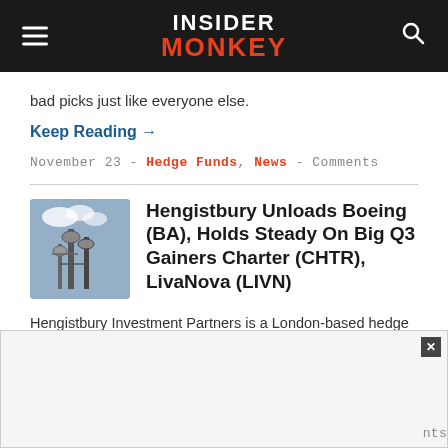INSIDER MONKEY
bad picks just like everyone else.
Keep Reading →
November 23 - Hedge Funds, News - Comments
Hengistbury Unloads Boeing (BA), Holds Steady On Big Q3 Gainers Charter (CHTR), LivaNova (LIVN)
Hengistbury Investment Partners is a London-based hedge fund founded by Stuart Powers.
Keep Reading →